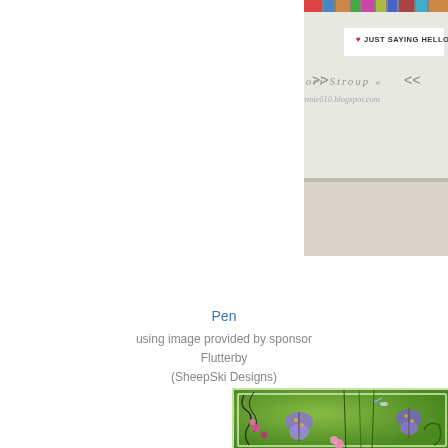[Figure (photo): Cropped photo of a card with 'JUST SAYING HELLO' text and Lori Stroup signature with blog loriannie610.blogspot.com, shown at top right]
Pen
using image provided by sponsor
Flutterby
(SheepSki Designs)
[Figure (photo): Green background card with purple butterflies, dragonfly, pink flowers, and decorative swirl elements]